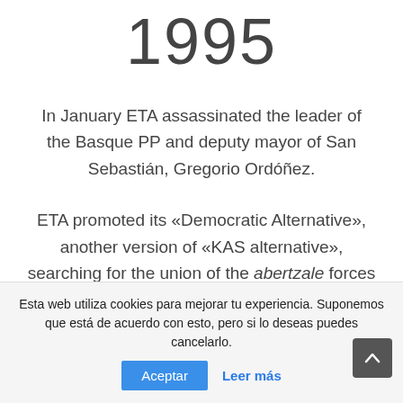1995
In January ETA assassinated the leader of the Basque PP and deputy mayor of San Sebastián, Gregorio Ordóñez.
ETA promoted its «Democratic Alternative», another version of «KAS alternative», searching for the union of the abertzale forces to achieve self-determination for the people of the Basque Country.
Esta web utiliza cookies para mejorar tu experiencia. Suponemos que está de acuerdo con esto, pero si lo deseas puedes cancelarlo.